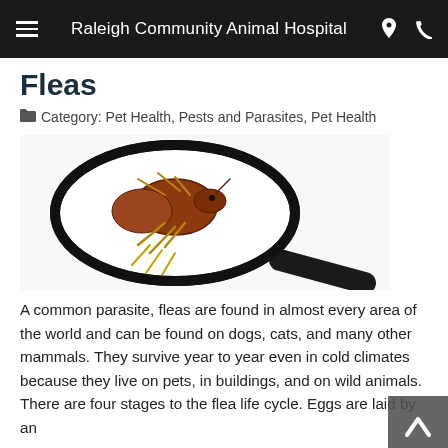Raleigh Community Animal Hospital
Fleas
Category: Pet Health, Pests and Parasites, Pet Health
[Figure (photo): A magnifying glass showing a close-up view of a flea on a white background]
A common parasite, fleas are found in almost every area of the world and can be found on dogs, cats, and many other mammals. They survive year to year even in cold climates because they live on pets, in buildings, and on wild animals. There are four stages to the flea life cycle. Eggs are laid by an
READ MORE